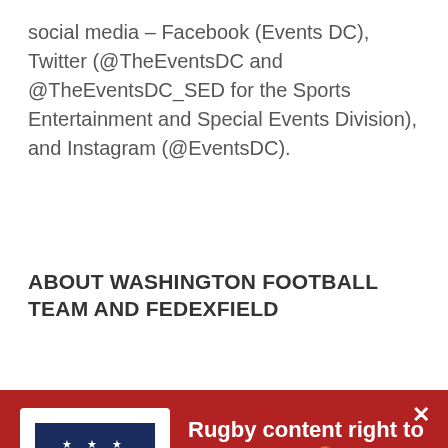social media – Facebook (Events DC), Twitter (@TheEventsDC and @TheEventsDC_SED for the Sports Entertainment and Special Events Division), and Instagram (@EventsDC).
ABOUT WASHINGTON FOOTBALL TEAM AND FEDEXFIELD
[Figure (infographic): Old Glory DC rugby football club shield logo — dark navy blue shield with stars, 'OLD GLORY DC' text, and a red/white stripe element]
Rugby content right to your inbox 🏉
Don't miss a minute of the action. Sign up for the Old Glory DC newsletter for match previews, signing announcements, exclusive interviews, content, and news!
Keep Me Posted